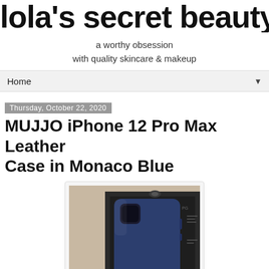lola's secret beauty blog
a worthy obsession
with quality skincare & makeup
Home
Thursday, October 22, 2020
MUJJO iPhone 12 Pro Max Leather Case in Monaco Blue
[Figure (photo): MUJJO iPhone 12 Pro Max Leather Case in Monaco Blue shown in dark packaging box, blue leather phone case visible]